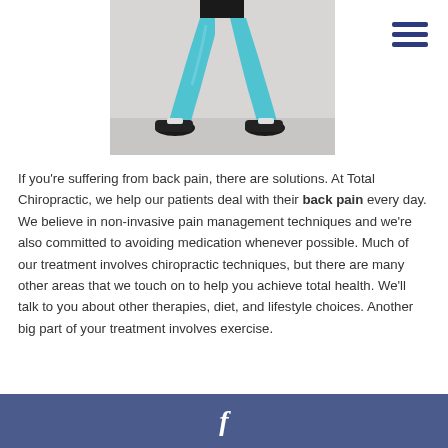[Figure (photo): Person doing a squat exercise, wearing turquoise leggings and black athletic wear, photographed from waist down]
If you’re suffering from back pain, there are solutions. At Total Chiropractic, we help our patients deal with their back pain every day. We believe in non-invasive pain management techniques and we’re also committed to avoiding medication whenever possible. Much of our treatment involves chiropractic techniques, but there are many other areas that we touch on to help you achieve total health. We’ll talk to you about other therapies, diet, and lifestyle choices. Another big part of your treatment involves exercise.
f